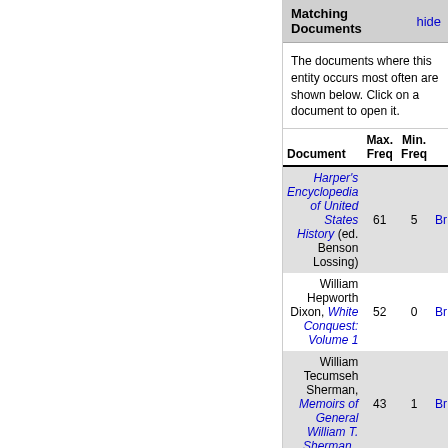Matching Documents
The documents where this entity occurs most often are shown below. Click on a document to open it.
| Document | Max.
Freq | Min.
Freq |  |
| --- | --- | --- | --- |
| Harper's Encyclopedia of United States History (ed. Benson Lossing) | 61 | 5 | Br |
| William Hepworth Dixon, White Conquest: Volume 1 | 52 | 0 | Br |
| William Tecumseh Sherman, Memoirs of General William T. Sherman . | 43 | 1 | Br |
| Colonel William Preston Johnston, The Life of General Albert Sidney Johnston : His Service | 35 | 3 | Br |